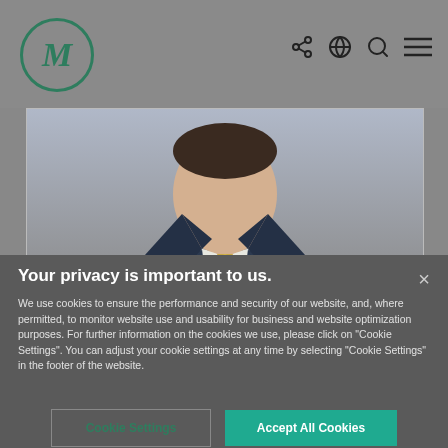[Figure (screenshot): Website navigation bar with circular M logo in dark green and nav icons (share, globe, search, menu)]
[Figure (photo): Profile photo of Eric Orsic in business suit with gold tie, partially visible from chest up]
Eric Orsic
Partner | Chicago
Your privacy is important to us.
We use cookies to ensure the performance and security of our website, and, where permitted, to monitor website use and usability for business and website optimization purposes. For further information on the cookies we use, please click on "Cookie Settings". You can adjust your cookie settings at any time by selecting "Cookie Settings" in the footer of the website.
Cookie Settings
Accept All Cookies